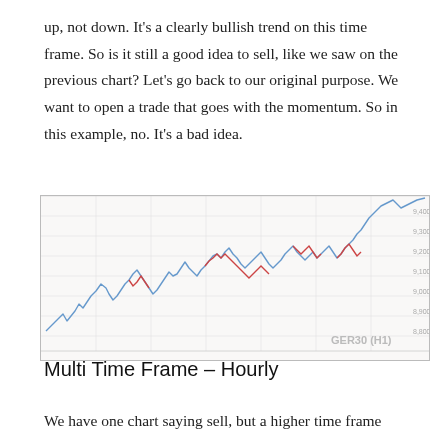up, not down. It’s a clearly bullish trend on this time frame. So is it still a good idea to sell, like we saw on the previous chart? Let’s go back to our original purpose. We want to open a trade that goes with the momentum. So in this example, no. It’s a bad idea.
[Figure (continuous-plot): GER30 H1 candlestick/line chart showing an overall upward trend. The chart displays a financial instrument (GER30) on the hourly time frame, with a blue/red line chart showing price action with a clear bullish trend rising from lower-left to upper-right.]
Multi Time Frame – Hourly
We have one chart saying sell, but a higher time frame